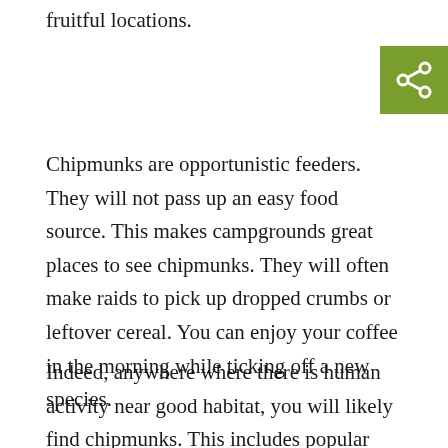fruitful locations.
[Figure (other): Green share button with share icon (network/social share symbol)]
Chipmunks are opportunistic feeders. They will not pass up an easy food source. This makes campgrounds great places to see chipmunks. They will often make raids to pick up dropped crumbs or leftover cereal. You can enjoy your coffee in the morning while ticking off a new species.
Indeed, anywhere where there is human activity near good habitat, you will likely find chipmunks. This includes popular lunch stops on hiking trails, scenic overlooks, boardwalks and the woods around parking lots. Nature centers with bird feeders are also worth